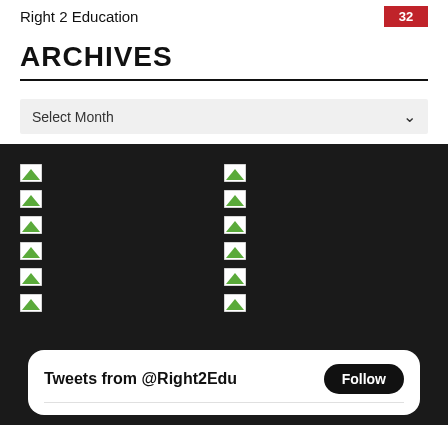Right 2 Education  32
ARCHIVES
Select Month
[Figure (other): Dark background section with two columns of broken image icons (thumbnails with green triangle placeholder), arranged in a grid pattern]
Tweets from @Right2Edu  Follow